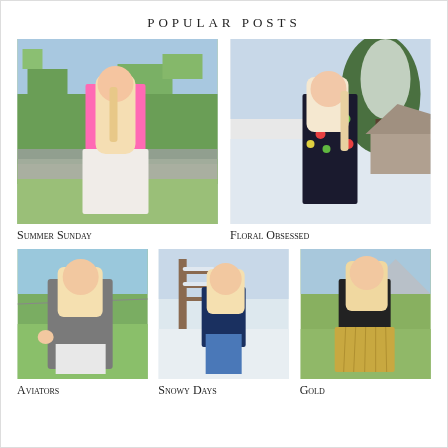POPULAR POSTS
[Figure (photo): Blonde woman in pink blouse and white lace skirt standing in a green field outdoors]
[Figure (photo): Blonde woman in floral dark printed long-sleeve top with snowy trees in background]
Summer Sunday
Floral Obsessed
[Figure (photo): Blonde woman in grey cardigan with sunglasses standing in a green field]
[Figure (photo): Blonde woman in floral navy blouse and jeans standing in snowy landscape]
[Figure (photo): Blonde woman in black top and gold pleated skirt standing in a field]
Aviators
Snowy Days
Gold